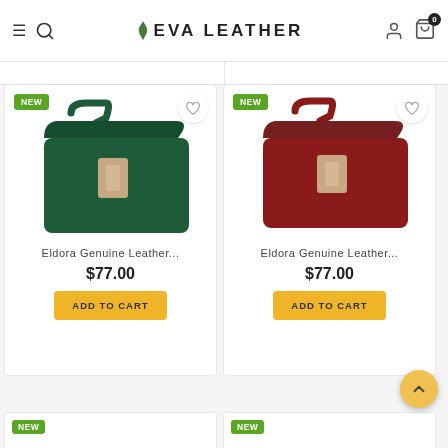EVA LEATHER
[Figure (photo): Green leather crossbody bag with gold buckle clasp and shoulder strap]
Eldora Genuine Leather...
$77.00
ADD TO CART
[Figure (photo): Red leather crossbody bag with gold buckle clasp and shoulder strap]
Eldora Genuine Leather...
$77.00
ADD TO CART